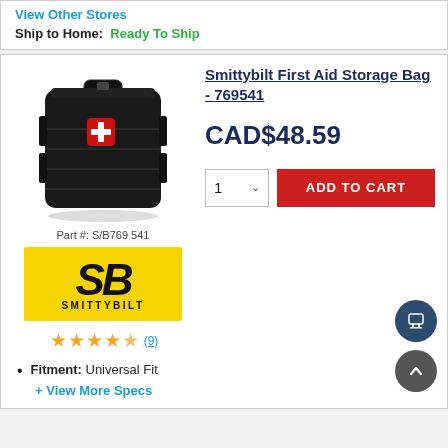View Other Stores
Ship to Home: Ready To Ship
[Figure (photo): Black Smittybilt First Aid Storage Bag product photo]
Part #: S/B769541
[Figure (logo): Smittybilt brand logo - yellow background with SB text and SMITTYBILT name]
★★★★½ (9)
Smittybilt First Aid Storage Bag - 769541
CAD$48.59
1  ∨  ADD TO CART
Fitment: Universal Fit
+ View More Specs